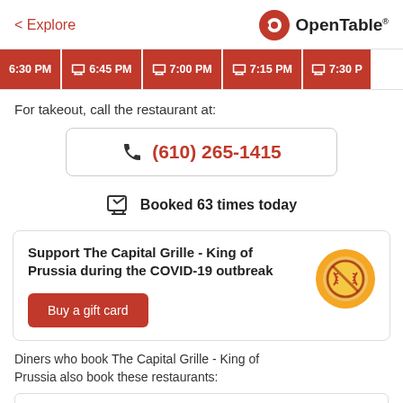< Explore  OpenTable
6:30 PM | 6:45 PM | 7:00 PM | 7:15 PM | 7:30 PM
For takeout, call the restaurant at:
(610) 265-1415
Booked 63 times today
Support The Capital Grille - King of Prussia during the COVID-19 outbreak
Buy a gift card
Diners who book The Capital Grille - King of Prussia also book these restaurants: